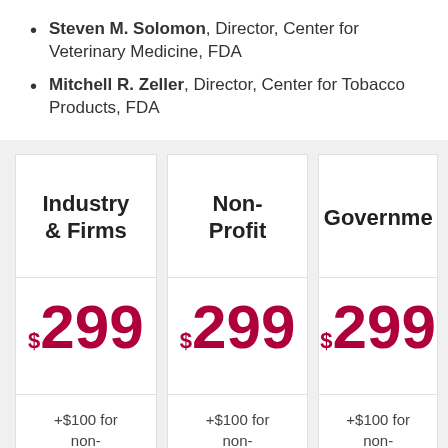Steven M. Solomon, Director, Center for Veterinary Medicine, FDA
Mitchell R. Zeller, Director, Center for Tobacco Products, FDA
| Industry & Firms | Non-Profit | Government |
| --- | --- | --- |
| $299 | $299 | $299 |
| +$100 for non- | +$100 for non- | +$100 for non-members |